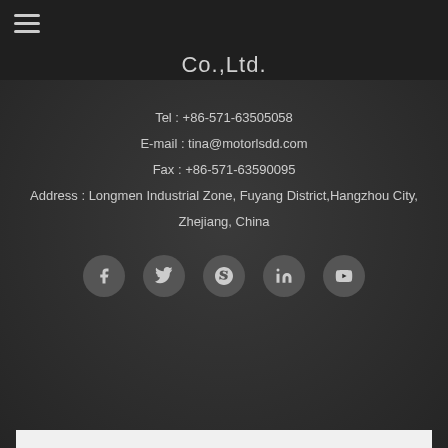Co.,Ltd.
Tel : +86-571-63505058
E-mail : tina@motorlsdd.com
Fax : +86-571-63590095
Address : Longmen Industrial Zone, Fuyang District,Hangzhou City, Zhejiang, China
[Figure (infographic): Row of 5 social media icon circles: Facebook, Twitter, Skype, LinkedIn, YouTube]